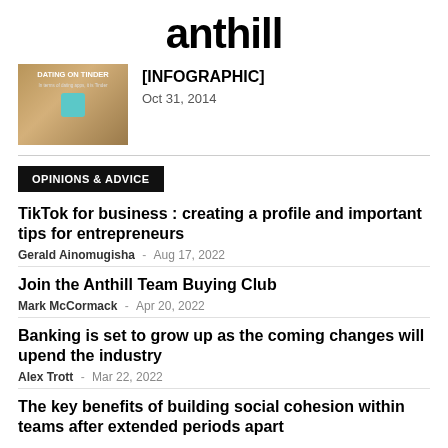anthill
[Figure (photo): Thumbnail image with text 'DATING ON TINDER' on a warm brown/tan background with a teal icon]
[INFOGRAPHIC]
Oct 31, 2014
OPINIONS & ADVICE
TikTok for business : creating a profile and important tips for entrepreneurs
Gerald Ainomugisha  -  Aug 17, 2022
Join the Anthill Team Buying Club
Mark McCormack  -  Apr 20, 2022
Banking is set to grow up as the coming changes will upend the industry
Alex Trott  -  Mar 22, 2022
The key benefits of building social cohesion within teams after extended periods apart